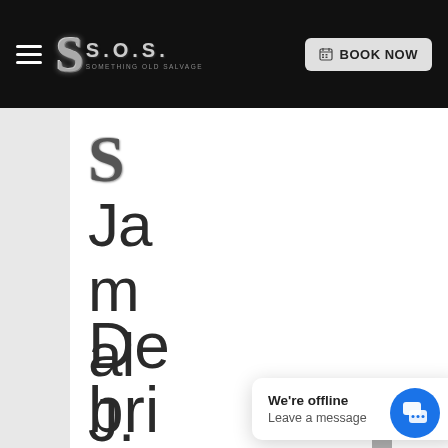S.O.S. Something Old Salvage — BOOK NOW
S
Ja
m
al
J.
De
bri
We're offline
Leave a message